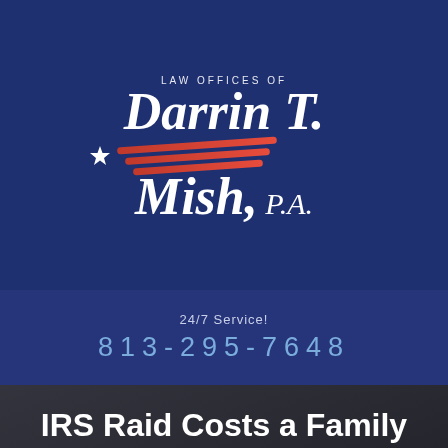[Figure (logo): Law Offices of Darrin T. Mish, P.A. logo with star and red stripe design on dark navy background]
24/7 Service!
813-295-7648
IRS Raid Costs a Family Their Business
December 03, 2015
By Law Offices of Darrin T. Mish, P.A